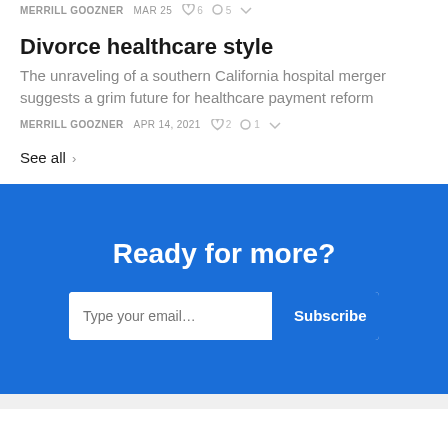MERRILL GOOZNER  MAR 25  ♡ 6  ◯ 5
Divorce healthcare style
The unraveling of a southern California hospital merger suggests a grim future for healthcare payment reform
MERRILL GOOZNER  APR 14, 2021  ♡ 2  ◯ 1
See all ›
Ready for more?